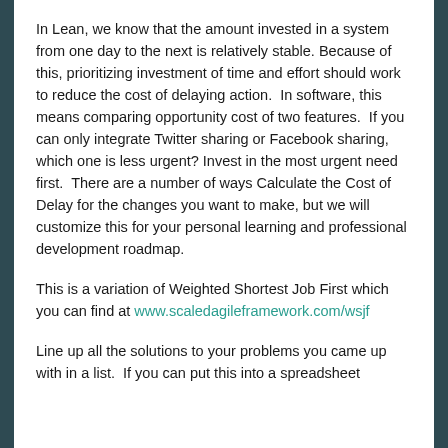In Lean, we know that the amount invested in a system from one day to the next is relatively stable. Because of this, prioritizing investment of time and effort should work to reduce the cost of delaying action.  In software, this means comparing opportunity cost of two features.  If you can only integrate Twitter sharing or Facebook sharing, which one is less urgent? Invest in the most urgent need first.  There are a number of ways Calculate the Cost of Delay for the changes you want to make, but we will customize this for your personal learning and professional development roadmap.
This is a variation of Weighted Shortest Job First which you can find at www.scaledagileframework.com/wsjf
Line up all the solutions to your problems you came up with in a list.  If you can put this into a spreadsheet